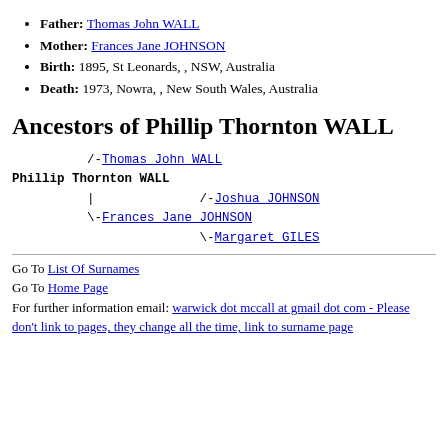Father: Thomas John WALL
Mother: Frances Jane JOHNSON
Birth: 1895, St Leonards, , NSW, Australia
Death: 1973, Nowra, , New South Wales, Australia
Ancestors of Phillip Thornton WALL
/-Thomas John WALL
Phillip Thornton WALL
          |              /-Joshua JOHNSON
          \-Frances Jane JOHNSON
                         \-Margaret GILES
Go To List Of Surnames
Go To Home Page
For further information email: warwick dot mccall at gmail dot com - Please don't link to pages, they change all the time, link to surname page